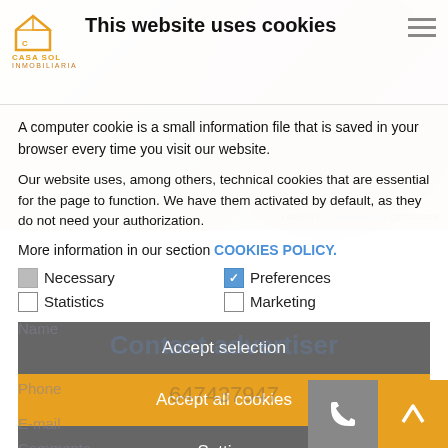[Figure (screenshot): Background map image with pink circle overlay and leaflet attribution]
This website uses cookies
A computer cookie is a small information file that is saved in your browser every time you visit our website.
Our website uses, among others, technical cookies that are essential for the page to function. We have them activated by default, as they do not need your authorization.
More information in our section COOKIES POLICY.
Necessary (checked/grey) | Preferences (checked/blue)
Statistics (unchecked) | Marketing (unchecked)
Accept selection
Accept all cookies
Setting